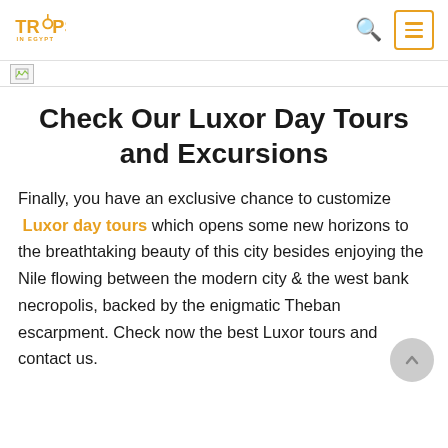Trips In Egypt — navigation header with logo, search icon, and menu button
[Figure (screenshot): Small broken/loading image placeholder in banner strip]
Check Our Luxor Day Tours and Excursions
Finally, you have an exclusive chance to customize Luxor day tours which opens some new horizons to the breathtaking beauty of this city besides enjoying the Nile flowing between the modern city & the west bank necropolis, backed by the enigmatic Theban escarpment. Check now the best Luxor tours and contact us.